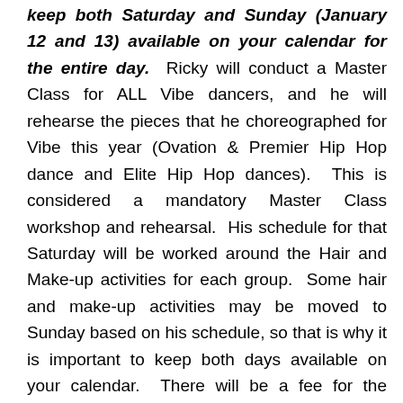keep both Saturday and Sunday (January 12 and 13) available on your calendar for the entire day. Ricky will conduct a Master Class for ALL Vibe dancers, and he will rehearse the pieces that he choreographed for Vibe this year (Ovation & Premier Hip Hop dance and Elite Hip Hop dances). This is considered a mandatory Master Class workshop and rehearsal. His schedule for that Saturday will be worked around the Hair and Make-up activities for each group. Some hair and make-up activities may be moved to Sunday based on his schedule, so that is why it is important to keep both days available on your calendar. There will be a fee for the Master Class, and it will be communicated once his schedule is finalized. The Master Calendar has been updated with a placeholder for the Master Class and Rehearsals.

You will note that the Master Classes will be offered/open